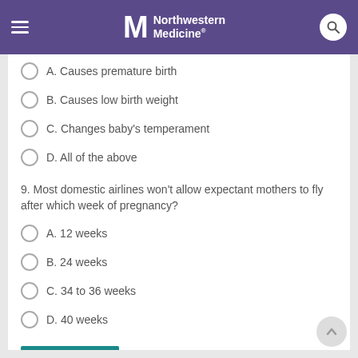Northwestern Medicine
A. Causes premature birth
B. Causes low birth weight
C. Changes baby's temperament
D. All of the above
9. Most domestic airlines won't allow expectant mothers to fly after which week of pregnancy?
A. 12 weeks
B. 24 weeks
C. 34 to 36 weeks
D. 40 weeks